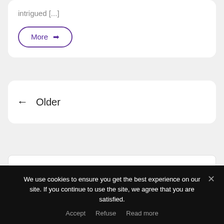intrigued [...]
More →
← Older
Privacy & Cookies: This site uses cookies. By continuing to use this website, you agree to their use.
To find out more, including how to control cookies, see here: Cookie
We use cookies to ensure you get the best experience on our site. If you continue to use the site, we agree that you are satisfied.
Accept   Refuse   Read more